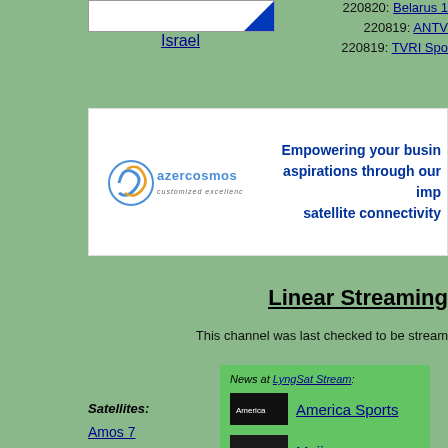[Figure (illustration): Israel flag icon/thumbnail in a white bordered box]
Israel
220820: Belarus 1
220819: ANTV
220819: TVRI Spo
[Figure (logo): Azercosmos logo with swirl icon, text 'azercosmos customized excellence']
Empowering your business aspirations through our impeccable satellite connectivity
Linear Streaming
This channel was last checked to be streaming
News at LyngSat Stream:
America Sports
Moji
Satellites:
Amos 7